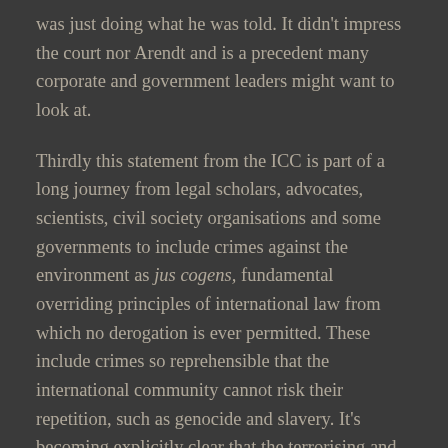was just doing what he was told. It didn't impress the court nor Arendt and is a precedent many corporate and government leaders might want to look at.
Thirdly this statement from the ICC is part of a long journey from legal scholars, advocates, scientists, civil society organisations and some governments to include crimes against the environment as jus cogens, fundamental overriding principles of international law from which no derogation is ever permitted. These include crimes so reprehensible that the international community cannot risk their repetition, such as genocide and slavery. It's becoming explicitly clear that the terrorising and destruction of the environmental commons in peacetime is now equivalent to warlike conditions in parts of the world.